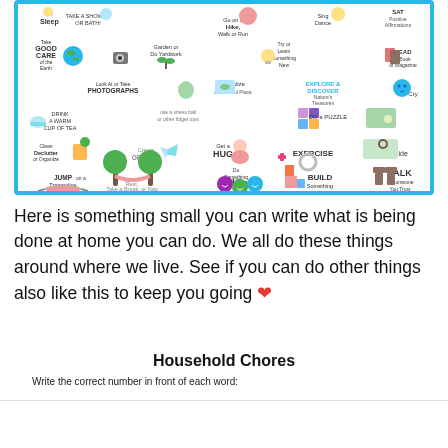[Figure (infographic): A colorful infographic showing various self-care and wellbeing activities including: Sleep, Take a Shower or Bath, Sing Dance, SAT Positive Affirmations, Take Good Care of the Earth, Garden or Do Yardwork, Go on a Hike Walk or Run, Try or Learn Something New, Read a Book or Magazine, Look At or Take Photographs, Visualize a Peaceful Place, Explore & Discover Nature's Treasures, Cry, Drink a Warm Cup of Tea, Use a Stress Ball or other fidget toys, Do a Puzzle, Clean Declutter or Organize, Create Origami, Get a Hug, Exercise, Play Outside, Jump on a Trampoline, Rest Take a Break or Nap, Do Something Kind, Build Something, Talk to Someone You Trust]
Here is something small you can write what is being done at home you can do. We all do these things around where we live. See if you can do other things also like this to keep you going ❤
Household Chores
Write the correct number in front of each word: